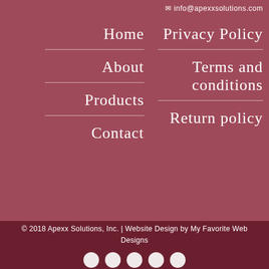info@apexxsolutions.com
Home
About
Products
Contact
Privacy Policy
Terms and conditions
Return policy
© 2018 Apexx Solutions, Inc. | Website Design by My Favorite Web Designs